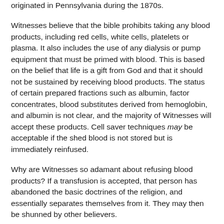originated in Pennsylvania during the 1870s.
Witnesses believe that the bible prohibits taking any blood products, including red cells, white cells, platelets or plasma. It also includes the use of any dialysis or pump equipment that must be primed with blood. This is based on the belief that life is a gift from God and that it should not be sustained by receiving blood products. The status of certain prepared fractions such as albumin, factor concentrates, blood substitutes derived from hemoglobin, and albumin is not clear, and the majority of Witnesses will accept these products. Cell saver techniques may be acceptable if the shed blood is not stored but is immediately reinfused.
Why are Witnesses so adamant about refusing blood products? If a transfusion is accepted, that person has abandoned the basic doctrines of the religion, and essentially separates themselves from it. They may then be shunned by other believers.